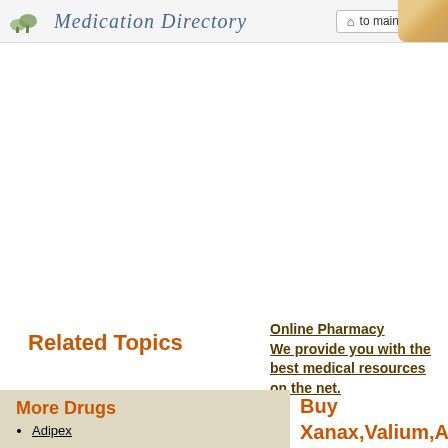Medication Directory  to main page
Related Topics
Online Pharmacy We provide you with the best medical resources on the net.
More Drugs
Adipex
Buy Xanax,Valium,Ar... 20%OFF